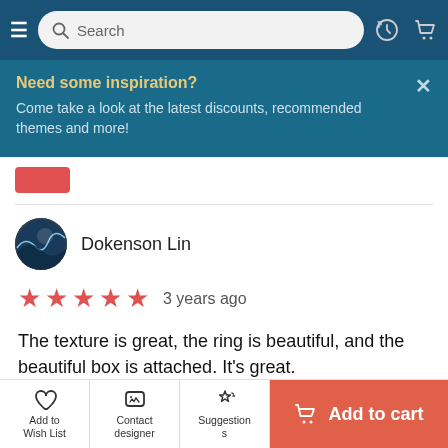Search
Need some inspiration?
Come take a look at the latest discounts, recommended themes and more!
Dokenson Lin
★★★★★  3 years ago
The texture is great, the ring is beautiful, and the beautiful box is attached. It's great.
Translated from Traditional Chinese
[Figure (other): Light gray image placeholder rectangle]
Add to Wish List | Contact designer | Suggestions | Add to cart